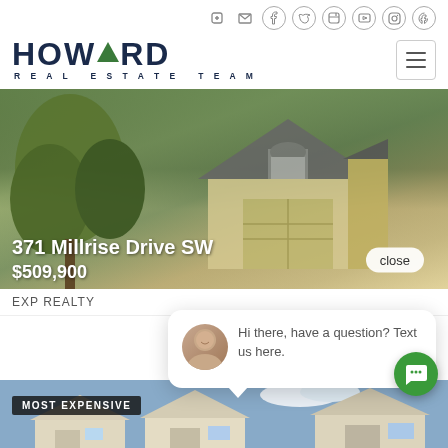Howard Real Estate Team — social navigation bar with icons: login, email, facebook, twitter, linkedin, youtube, instagram, pinterest
[Figure (logo): Howard Real Estate Team logo with green triangle in the A of HOWARD, tagline REAL ESTATE TEAM]
[Figure (photo): Hero property photo of a house at 371 Millrise Drive SW with trees in foreground]
371 Millrise Drive SW
$509,900
close
EXP REALTY
[Figure (photo): Chat popup with agent avatar photo, text: Hi there, have a question? Text us here.]
[Figure (photo): Second property listing photo with MOST EXPENSIVE badge]
[Figure (other): Green circular chat button with speech bubble icon]